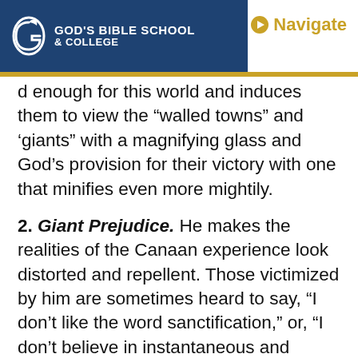God's Bible School & College | Navigate
d enough for this world and induces them to view the “walled towns” and ‘giants” with a magnifying glass and God’s provision for their victory with one that minifies even more mightily.
2. Giant Prejudice. He makes the realities of the Canaan experience look distorted and repellent. Those victimized by him are sometimes heard to say, “I don’t like the word sanctification,” or, “I don’t believe in instantaneous and complete cleansing after conversion.”